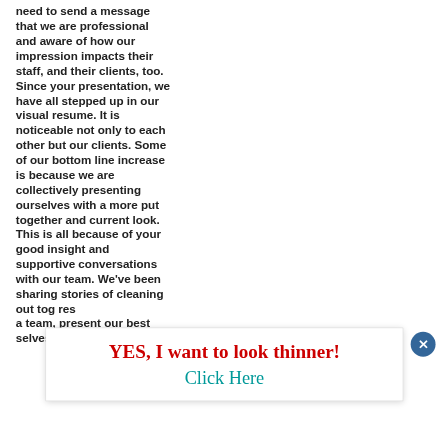need to send a message that we are professional and aware of how our impression impacts their staff, and their clients, too. Since your presentation, we have all stepped up in our visual resume. It is noticeable not only to each other but our clients. Some of our bottom line increase is because we are collectively presenting ourselves with a more put together and current look. This is all because of your good insight and supportive conversations with our team. We've been sharing stories of cleaning out [partially obscured] together [partially obscured] resp[ectively obscured] a team, present our best selves. Thanks
[Figure (other): A popup advertisement overlay with red bold text 'YES, I want to look thinner!' and teal text 'Click Here' below it, with a dark blue circular close button (X) in the upper right corner.]